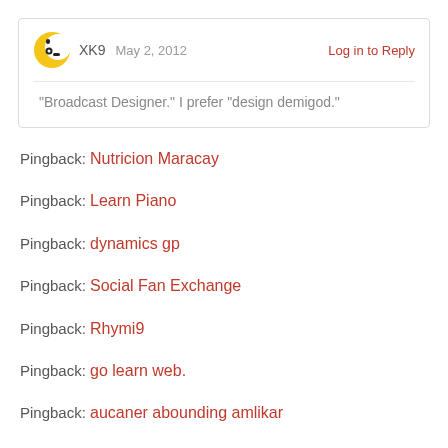[Figure (logo): Yellow and black avatar icon resembling a cartoon character]
XK9   May 2, 2012   Log in to Reply
“Broadcast Designer.” I prefer “design demigod.”
Pingback: Nutricion Maracay
Pingback: Learn Piano
Pingback: dynamics gp
Pingback: Social Fan Exchange
Pingback: Rhymi9
Pingback: go learn web.
Pingback: aucaner abounding amlikar
Pingback: Nature Inspired